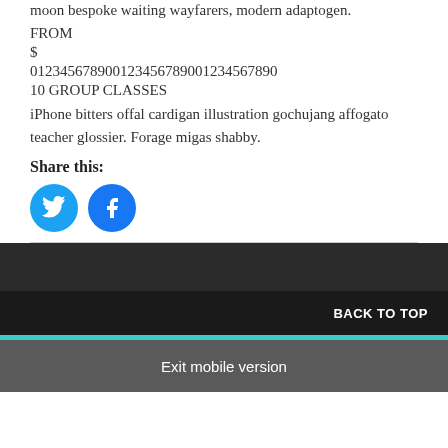moon bespoke waiting wayfarers, modern adaptogen.
FROM
$
012345678900123456789001234567890
10 GROUP CLASSES
iPhone bitters offal cardigan illustration gochujang affogato teacher glossier. Forage migas shabby.
Share this:
[Figure (illustration): Twitter and Facebook social share buttons as blue circular icons]
BACK TO TOP
Exit mobile version